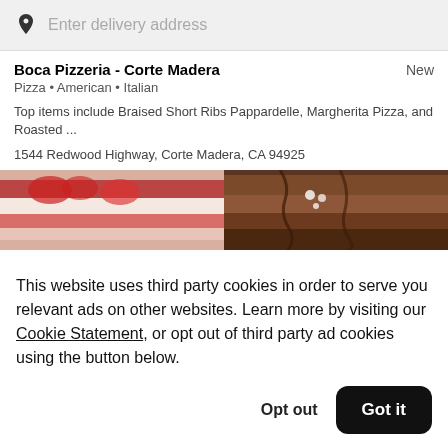Enter delivery address
Boca Pizzeria - Corte Madera
New
Pizza • American • Italian
Top items include Braised Short Ribs Pappardelle, Margherita Pizza, and Roasted ...
1544 Redwood Highway, Corte Madera, CA 94925
[Figure (photo): Food photos showing desserts including what appears to be strawberry cake slices and chocolate desserts]
This website uses third party cookies in order to serve you relevant ads on other websites. Learn more by visiting our Cookie Statement, or opt out of third party ad cookies using the button below.
Opt out
Got it